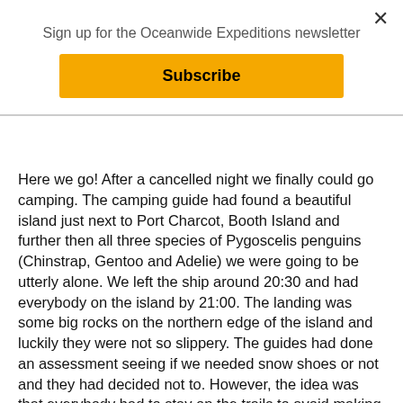Sign up for the Oceanwide Expeditions newsletter
Subscribe
Here we go! After a cancelled night we finally could go camping. The camping guide had found a beautiful island just next to Port Charcot, Booth Island and further then all three species of Pygoscelis penguins (Chinstrap, Gentoo and Adelie) we were going to be utterly alone. We left the ship around 20:30 and had everybody on the island by 21:00. The landing was some big rocks on the northern edge of the island and luckily they were not so slippery. The guides had done an assessment seeing if we needed snow shoes or not and they had decided not to. However, the idea was that everybody had to stay on the trails to avoid making too many deep footsteps on the island. Everybody started building their holes